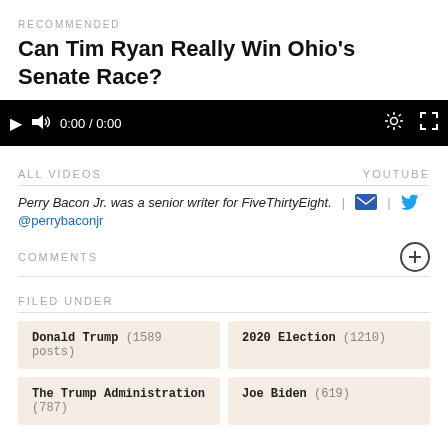RECOMMENDED
Can Tim Ryan Really Win Ohio's Senate Race?
[Figure (screenshot): Video player control bar showing play button, volume icon, time 0:00 / 0:00, settings gear icon, and fullscreen icon on black background]
ALL VIDEOS    YOUTUBE
Perry Bacon Jr. was a senior writer for FiveThirtyEight. | [email icon] | [twitter icon]
@perrybaconjr
COMMENTS
FILED UNDER
Donald Trump (1589 posts)
2020 Election (1210)
The Trump Administration (787)
Joe Biden (619)